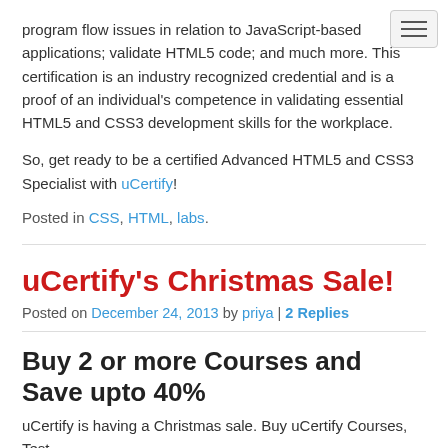[Figure (other): Navigation hamburger menu button in top right corner]
program flow issues in relation to JavaScript-based applications; validate HTML5 code; and much more. This certification is an industry recognized credential and is a proof of an individual's competence in validating essential HTML5 and CSS3 development skills for the workplace.
So, get ready to be a certified Advanced HTML5 and CSS3 Specialist with uCertify!
Posted in CSS, HTML, labs.
uCertify's Christmas Sale!
Posted on December 24, 2013 by priya | 2 Replies
Buy 2 or more Courses and Save upto 40%
uCertify is having a Christmas sale. Buy uCertify Courses, Test